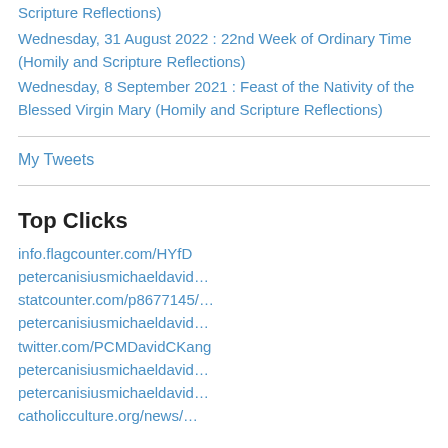Scripture Reflections)
Wednesday, 31 August 2022 : 22nd Week of Ordinary Time (Homily and Scripture Reflections)
Wednesday, 8 September 2021 : Feast of the Nativity of the Blessed Virgin Mary (Homily and Scripture Reflections)
My Tweets
Top Clicks
info.flagcounter.com/HYfD
petercanisiusmichaeldavid...
statcounter.com/p8677145/…
petercanisiusmichaeldavid...
twitter.com/PCMDavidCKang
petercanisiusmichaeldavid...
petercanisiusmichaeldavid...
catholicculture.org/news/…